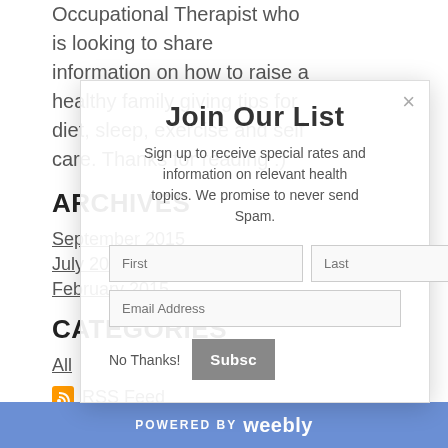Occupational Therapist who is looking to share information on how to raise a healthy family giving tips for diet, sleep, exercise and self care.  Thanks for reading :)
ARCHIVES
September 2015
July 2015
February 2015
CATEGORIES
All
RSS Feed
Join Our List
Sign up to receive special rates and information on relevant health topics.  We promise to never send Spam.
No Thanks!
Subsc
POWERED BY weebly